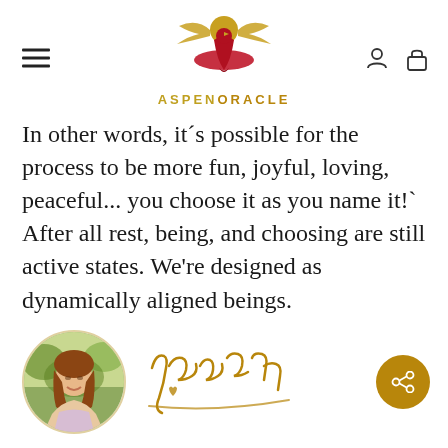ASPEN ORACLE
In other words, it’s possible for the process to be more fun, joyful, loving, peaceful… you choose it as you name it!` After all rest, being, and choosing are still active states. We’re designed as dynamically aligned beings.
[Figure (photo): Circular profile photo of a smiling woman with long auburn hair, outdoors in a garden setting, next to a cursive gold signature reading 'Jennah']